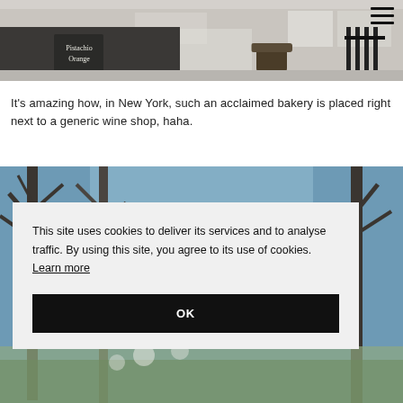[Figure (photo): Exterior storefront photo showing a bakery with a chalkboard sign reading 'Pistachio Orange', trees, and street furniture. A hamburger menu icon appears in the top right.]
It's amazing how, in New York, such an acclaimed bakery is placed right next to a generic wine shop, haha.
[Figure (photo): Outdoor photo showing bare winter trees against a blue sky, partially obscured by a cookie consent overlay.]
This site uses cookies to deliver its services and to analyse traffic. By using this site, you agree to its use of cookies. Learn more
OK